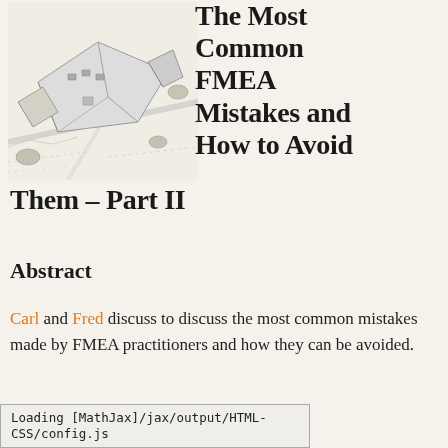[Figure (illustration): Pen-and-ink sketch of a historic building complex or campus viewed from above at an angle, showing rooftops, roads, and architectural details in a hand-drawn style.]
The Most Common FMEA Mistakes and How to Avoid Them – Part II
Abstract
Carl and Fred discuss to discuss the most common mistakes made by FMEA practitioners and how they can be avoided.
Loading [MathJax]/jax/output/HTML-CSS/config.js